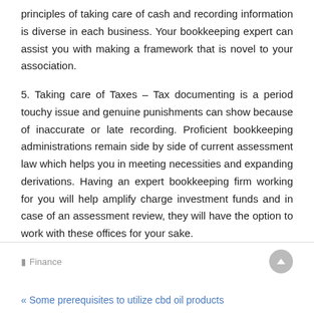principles of taking care of cash and recording information is diverse in each business. Your bookkeeping expert can assist you with making a framework that is novel to your association.
5. Taking care of Taxes – Tax documenting is a period touchy issue and genuine punishments can show because of inaccurate or late recording. Proficient bookkeeping administrations remain side by side of current assessment law which helps you in meeting necessities and expanding derivations. Having an expert bookkeeping firm working for you will help amplify charge investment funds and in case of an assessment review, they will have the option to work with these offices for your sake.
Finance
« Some prerequisites to utilize cbd oil products